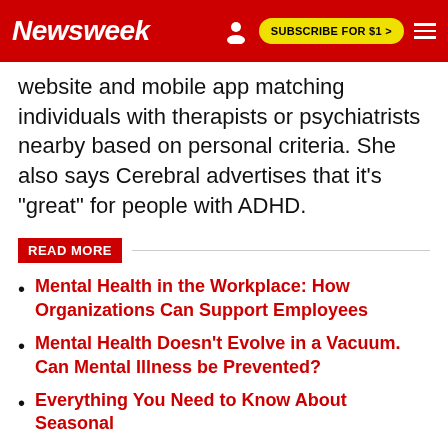Newsweek | SUBSCRIBE FOR $1 >
website and mobile app matching individuals with therapists or psychiatrists nearby based on personal criteria. She also says Cerebral advertises that it's "great" for people with ADHD.
READ MORE
Mental Health in the Workplace: How Organizations Can Support Employees
Mental Health Doesn't Evolve in a Vacuum. Can Mental Illness be Prevented?
Everything You Need to Know About Seasonal